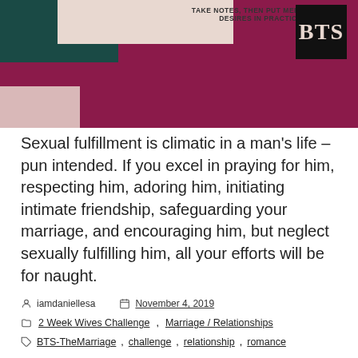[Figure (illustration): Blog post banner image with geometric color blocks: dark teal rectangle top-left, pinkish-beige rectangle with text 'TAKE NOTES, THEN PUT MEETING HIS DESIRES IN PRACTICE.' center-top, black BTS logo box top-right, dark burgundy/maroon background, dusty pink rectangle bottom-left.]
Sexual fulfillment is climatic in a man's life – pun intended. If you excel in praying for him, respecting him, adoring him, initiating intimate friendship, safeguarding your marriage, and encouraging him, but neglect sexually fulfilling him, all your efforts will be for naught.
iamdaniellesa   November 4, 2019
2 Week Wives Challenge, Marriage / Relationships
BTS-TheMarriage, challenge, relationship, romance